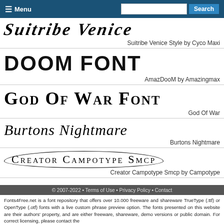Menu | Search
[Figure (illustration): Suitribe Venice font display text in bold italic style]
Suitribe Venice Style by Cyco Maxi
[Figure (illustration): Doom Font display text in spiky bold style]
AmazDooM by Amazingmax
[Figure (illustration): God Of War Font display text in bold serif small caps]
God Of War
[Figure (illustration): Burtons Nightmare display text in italic serif]
Burtons Nightmare
[Figure (illustration): Creator Campotype Smcp display text with oval border decoration]
Creator Campotype Smcp by Campotype
© 2007-2022 • Terms of Use • Privacy Policy • Contact
Fonts4Free.net is a font repository that offers over 10.000 freeware and shareware TrueType (.ttf) or OpenType (.otf) fonts with a live custom phrase preview option. The fonts presented on this website are their authors' property, and are either freeware, shareware, demo versions or public domain. For correct licensing, please contact the